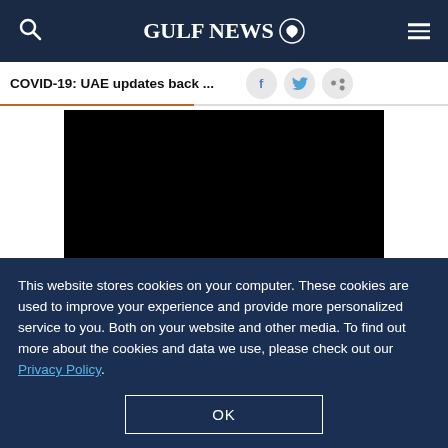GULF NEWS
COVID-19: UAE updates back ...
[Figure (photo): Black video player embed area]
The new rules were announced by the National Emergency Crisis and Disaster Management
This website stores cookies on your computer. These cookies are used to improve your experience and provide more personalized service to you. Both on your website and other media. To find out more about the cookies and data we use, please check out our Privacy Policy.
OK